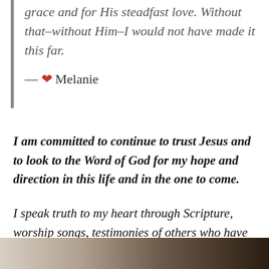grace and for His steadfast love. Without that–without Him–I would not have made it this far.
— ❤ Melanie
I am committed to continue to trust Jesus and to look to the Word of God for my hope and direction in this life and in the one to come.
I speak truth to my heart through Scripture, worship songs, testimonies of others who have gone before and by remaining in community with other believers.
[Figure (photo): Bottom strip of a photograph showing a dark gradient, likely a close-up photo of a person or scene, partially cropped]